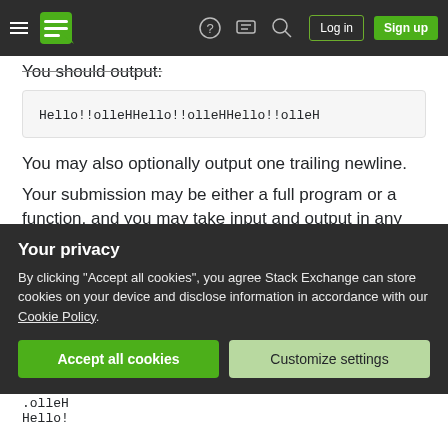Navigation bar with logo, help, chat, search icons, Log in and Sign up buttons
You should output:
Hello!!olleHHello!!olleHHello!!olleH
You may also optionally output one trailing newline.
Your submission may be either a full program or a function, and you may take input and output in any reasonable format. For example, you may take IO from STDIN/STDOUT, function arguments and return value, from a file, etc. You can safely assume
Your privacy
By clicking "Accept all cookies", you agree Stack Exchange can store cookies on your device and disclose information in accordance with our Cookie Policy.
Accept all cookies | Customize settings